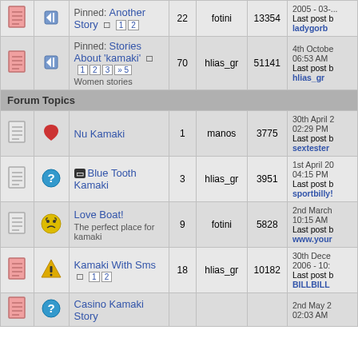|  |  | Topic | Replies | Author | Views | Last Post |
| --- | --- | --- | --- | --- | --- | --- |
| [doc] | [pin] | Pinned: Another Story  1 2 | 22 | fotini | 13354 | 2005-03-... Last post b ladygorb |
| [doc] | [pin] | Pinned: Stories About 'kamaki' 1 2 3 »5
Women stories | 70 | hlias_gr | 51141 | 4th October 06:53 AM Last post b hlias_gr |
Forum Topics
|  |  | Topic | Replies | Author | Views | Last Post |
| --- | --- | --- | --- | --- | --- | --- |
| [doc] | [heart] | Nu Kamaki | 1 | manos | 3775 | 30th April 02:29 PM Last post b sextester |
| [doc] | [?] | Blue Tooth Kamaki | 3 | hlias_gr | 3951 | 1st April 20 04:15 PM Last post b sportbilly! |
| [doc] | [emoji] | Love Boat!
The perfect place for kamaki | 9 | fotini | 5828 | 2nd March 10:15 AM Last post b www.your |
| [doc] | [!] | Kamaki With Sms 1 2 | 18 | hlias_gr | 10182 | 30th Dece 2006 - 10: Last post b BILLBILL |
| [doc] | [?] | Casino Kamaki Story |  |  |  | 2nd May 2 02:03 AM |